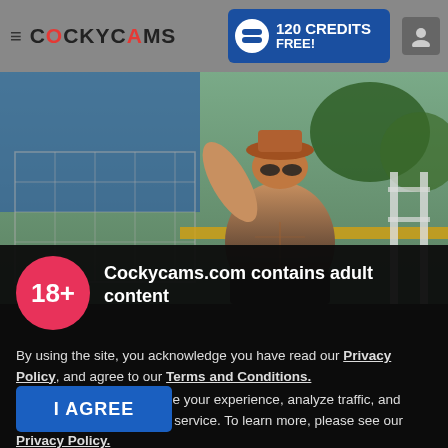COCKYCAMS — 120 CREDITS FREE!
[Figure (photo): Shirtless muscular man wearing a hat, flexing bicep outdoors near a fence and blue structure]
[Figure (infographic): 18+ age badge (pink circle) with adult content warning overlay panel]
Cockycams.com contains adult content
By using the site, you acknowledge you have read our Privacy Policy, and agree to our Terms and Conditions.
We use cookies to optimize your experience, analyze traffic, and deliver more personalized service. To learn more, please see our Privacy Policy.
I AGREE